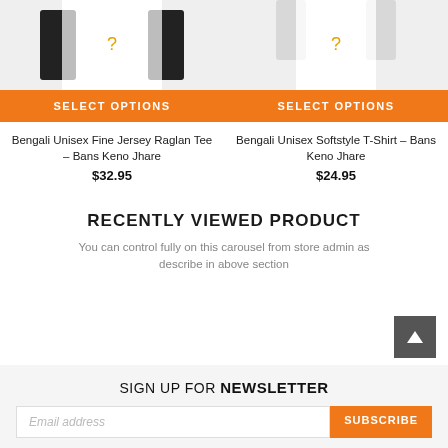[Figure (photo): Bengali Unisex Fine Jersey Raglan Tee product image (cropped top)]
[Figure (photo): Bengali Unisex Softstyle T-Shirt product image (cropped top)]
SELECT OPTIONS
SELECT OPTIONS
Bengali Unisex Fine Jersey Raglan Tee – Bans Keno Jhare
$32.95
Bengali Unisex Softstyle T-Shirt – Bans Keno Jhare
$24.95
RECENTLY VIEWED PRODUCT
You can control fully on this carousel from store admin as describe in above section
SIGN UP FOR NEWSLETTER
Email address
SUBSCRIBE